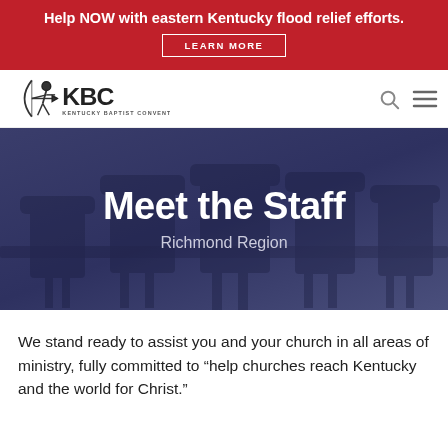Help NOW with eastern Kentucky flood relief efforts. LEARN MORE
[Figure (logo): Kentucky Baptist Convention (KBC) logo with archer figure and text 'KENTUCKY BAPTIST CONVENTION']
Meet the Staff
Richmond Region
We stand ready to assist you and your church in all areas of ministry, fully committed to “help churches reach Kentucky and the world for Christ.”